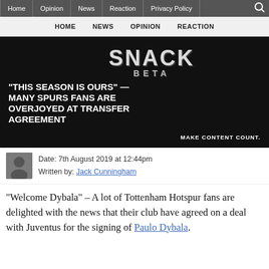Home | Opinion | News | Reaction | Privacy Policy
HOME  NEWS  OPINION  REACTION
[Figure (photo): Dark hero image with SNACK brand logo and article headline text: "THIS SEASON IS OURS" — MANY SPURS FANS ARE OVERJOYED AT TRANSFER AGREEMENT. MAKE CONTENT COUNT.]
Date: 7th August 2019 at 12:44pm
Written by: Jack Cunningham
"Welcome Dybala" – A lot of Tottenham Hotspur fans are delighted with the news that their club have agreed on a deal with Juventus for the signing of Paulo Dybala.